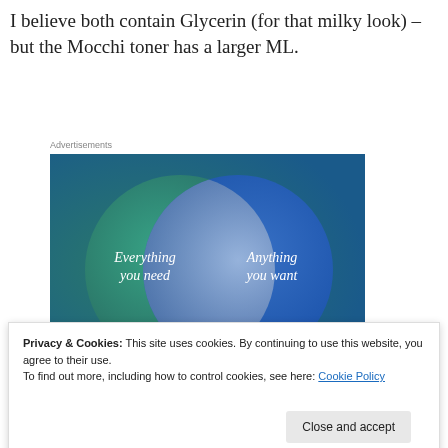I believe both contain Glycerin (for that milky look) – but the Mocchi toner has a larger ML.
Advertisements
[Figure (infographic): Venn diagram advertisement with two overlapping circles on a blue-green gradient background. Left circle (teal/green) labeled 'Everything you need', right circle (blue) labeled 'Anything you want'. The overlapping intersection is a lighter translucent area.]
Privacy & Cookies: This site uses cookies. By continuing to use this website, you agree to their use.
To find out more, including how to control cookies, see here: Cookie Policy
Close and accept